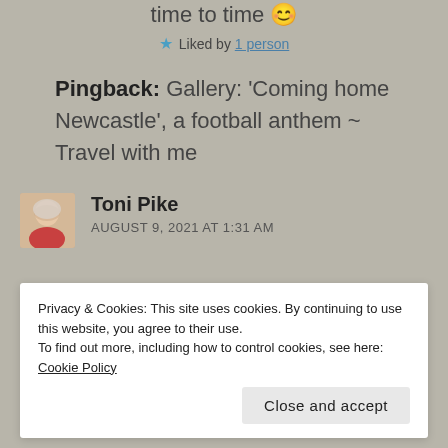time to time 😊
★ Liked by 1 person
Pingback: Gallery: 'Coming home Newcastle', a football anthem ~ Travel with me
[Figure (photo): Avatar photo of Toni Pike, a woman with short grey hair]
Toni Pike
AUGUST 9, 2021 AT 1:31 AM
Privacy & Cookies: This site uses cookies. By continuing to use this website, you agree to their use.
To find out more, including how to control cookies, see here: Cookie Policy